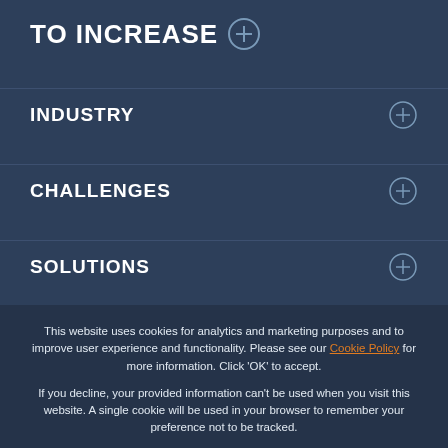TO INCREASE ⊕
INDUSTRY
CHALLENGES
SOLUTIONS
This website uses cookies for analytics and marketing purposes and to improve user experience and functionality. Please see our Cookie Policy for more information. Click 'OK' to accept.
If you decline, your provided information can't be used when you visit this website. A single cookie will be used in your browser to remember your preference not to be tracked.
Cookies settings
Accept All